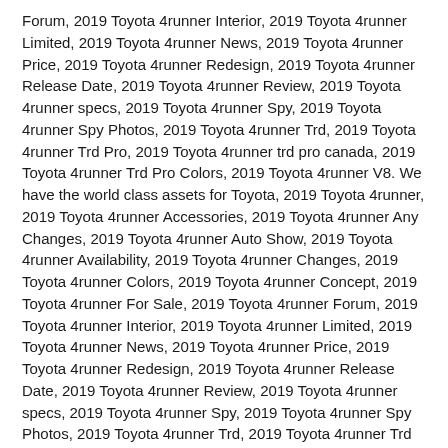Forum, 2019 Toyota 4runner Interior, 2019 Toyota 4runner Limited, 2019 Toyota 4runner News, 2019 Toyota 4runner Price, 2019 Toyota 4runner Redesign, 2019 Toyota 4runner Release Date, 2019 Toyota 4runner Review, 2019 Toyota 4runner specs, 2019 Toyota 4runner Spy, 2019 Toyota 4runner Spy Photos, 2019 Toyota 4runner Trd, 2019 Toyota 4runner Trd Pro, 2019 Toyota 4runner trd pro canada, 2019 Toyota 4runner Trd Pro Colors, 2019 Toyota 4runner V8. We have the world class assets for Toyota, 2019 Toyota 4runner, 2019 Toyota 4runner Accessories, 2019 Toyota 4runner Any Changes, 2019 Toyota 4runner Auto Show, 2019 Toyota 4runner Availability, 2019 Toyota 4runner Changes, 2019 Toyota 4runner Colors, 2019 Toyota 4runner Concept, 2019 Toyota 4runner For Sale, 2019 Toyota 4runner Forum, 2019 Toyota 4runner Interior, 2019 Toyota 4runner Limited, 2019 Toyota 4runner News, 2019 Toyota 4runner Price, 2019 Toyota 4runner Redesign, 2019 Toyota 4runner Release Date, 2019 Toyota 4runner Review, 2019 Toyota 4runner specs, 2019 Toyota 4runner Spy, 2019 Toyota 4runner Spy Photos, 2019 Toyota 4runner Trd, 2019 Toyota 4runner Trd Pro, 2019 Toyota 4runner trd pro canada, 2019 Toyota 4runner Trd Pro Colors, 2019 Toyota 4runner V8. Check it out for yourself! You can acquire 2019 Toyota 4Runner TRD Pro Powertrain guide and look the latest 2019 Toyota 4Runner TRD Pro Canada, Review, Redesign, Price.